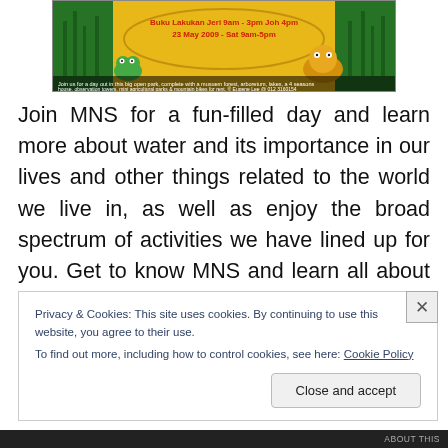[Figure (illustration): Colorful banner with cartoon animals (lion, frog), jungle/nature theme. Text on banner reads: Buku Lakukan Jeri 9am - 3pm Joh 4pm / 23 May 2009 - Sat 9am-5pm. Small caption text at bottom of banner: Join us for a day out in this big open park, complete with a musuem forest, arboretum, lakes, a 4 seasons house, observation towers, mini agricultural parks & mountain bikes for rent. Contact Eugene Lee @ 012 3160154]
Join MNS for a fun-filled day and learn more about water and its importance in our lives and other things related to the world we live in, as well as enjoy the broad spectrum of activities we have lined up for you. Get to know MNS and learn all about its Special Interest Groups (SIGs) and how you can get involved!
Privacy & Cookies: This site uses cookies. By continuing to use this website, you agree to their use.
To find out more, including how to control cookies, see here: Cookie Policy
Close and accept